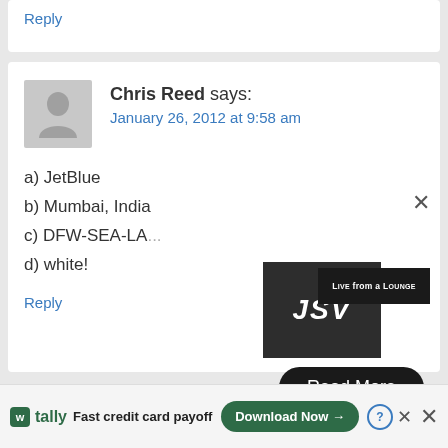Reply
Chris Reed says:
January 26, 2012 at 9:58 am
a) JetBlue
b) Mumbai, India
c) DFW-SEA-LA...
d) white!
Reply